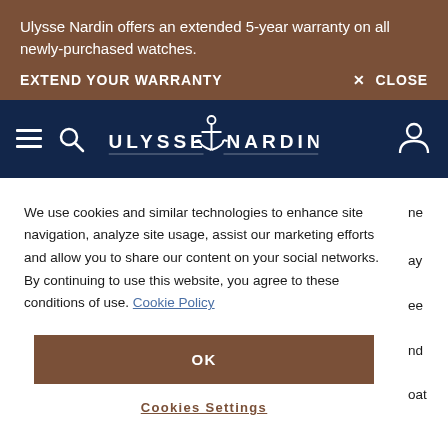Ulysse Nardin offers an extended 5-year warranty on all newly-purchased watches.
EXTEND YOUR WARRANTY
× CLOSE
[Figure (logo): Ulysse Nardin brand logo with anchor symbol on dark navy navigation bar, with hamburger menu, search icon, and person/account icon]
We use cookies and similar technologies to enhance site navigation, analyze site usage, assist our marketing efforts and allow you to share our content on your social networks. By continuing to use this website, you agree to these conditions of use. Cookie Policy
OK
Cookies Settings